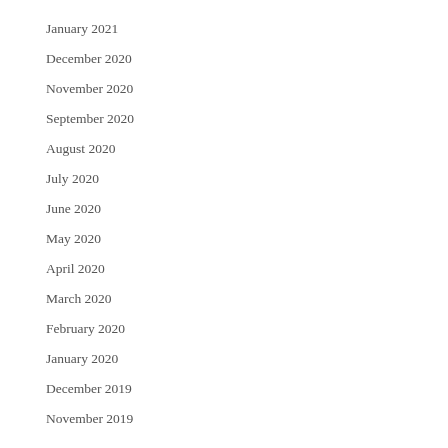January 2021
December 2020
November 2020
September 2020
August 2020
July 2020
June 2020
May 2020
April 2020
March 2020
February 2020
January 2020
December 2019
November 2019